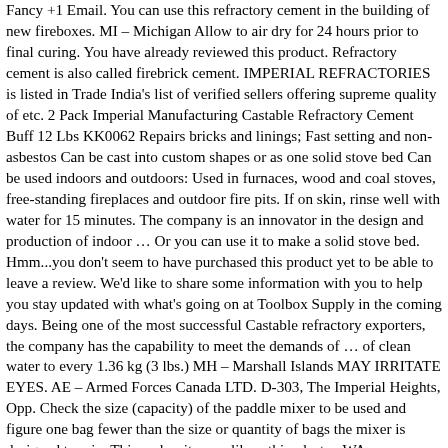Fancy +1 Email. You can use this refractory cement in the building of new fireboxes. MI – Michigan Allow to air dry for 24 hours prior to final curing. You have already reviewed this product. Refractory cement is also called firebrick cement. IMPERIAL REFRACTORIES is listed in Trade India's list of verified sellers offering supreme quality of etc. 2 Pack Imperial Manufacturing Castable Refractory Cement Buff 12 Lbs KK0062 Repairs bricks and linings; Fast setting and non-asbestos Can be cast into custom shapes or as one solid stove bed Can be used indoors and outdoors: Used in furnaces, wood and coal stoves, free-standing fireplaces and outdoor fire pits. If on skin, rinse well with water for 15 minutes. The company is an innovator in the design and production of indoor … Or you can use it to make a solid stove bed. Hmm...you don't seem to have purchased this product yet to be able to leave a review. We'd like to share some information with you to help you stay updated with what's going on at Toolbox Supply in the coming days. Being one of the most successful Castable refractory exporters, the company has the capability to meet the demands of … of clean water to every 1.36 kg (3 lbs.) MH – Marshall Islands MAY IRRITATE EYES. AE – Armed Forces Canada LTD. D-303, The Imperial Heights, Opp. Check the size (capacity) of the paddle mixer to be used and figure one bag fewer than the size or quantity of bags the mixer is designed to mix. This makes it more like a thin plaster. WA – Washington This Furnace Cement is suitable for a variety of high-temperature applications, including with a coal, gas or wood-burning furnace or stove. NC – North Carolina 5 offers from CDN$24.07. OR – Oregon VA – Virginia ©2021 - Imperial Manufacturing Group | All right reserved, Can be cast into custom shapes or as one solid stove bed, Resists temperatures to 1204°C (2200°F), Castable Refractory Cement...